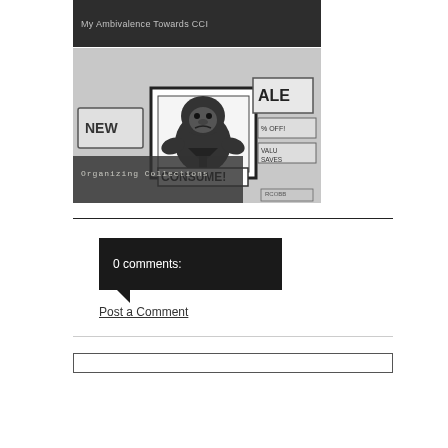[Figure (photo): Dark background image with text overlay reading 'My Ambivalence Towards CCI' in grey letters]
[Figure (illustration): Black and white cartoon/illustration showing a gorilla-like figure surrounded by consumer signs reading 'NEW', 'SALE', '% OFF', 'VALU SAVES', and 'CONSUME!' with caption overlay 'Organizing Collections' and artist signature 'RCOBB' in bottom right]
0 comments:
Post a Comment